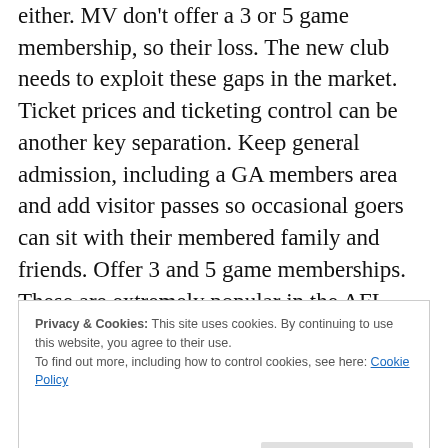either. MV don't offer a 3 or 5 game membership, so their loss. The new club needs to exploit these gaps in the market. Ticket prices and ticketing control can be another key separation. Keep general admission, including a GA members area and add visitor passes so occasional goers can sit with their membered family and friends. Offer 3 and 5 game memberships. These are extremely popular in the AFL, even if you must exclude derbies as one of the allowed games. These lower members then get first right to purchase their seat, otherwise it's for general sale. Long
Privacy & Cookies: This site uses cookies. By continuing to use this website, you agree to their use. To find out more, including how to control cookies, see here: Cookie Policy
Brawls in the streets before the game, hares at the